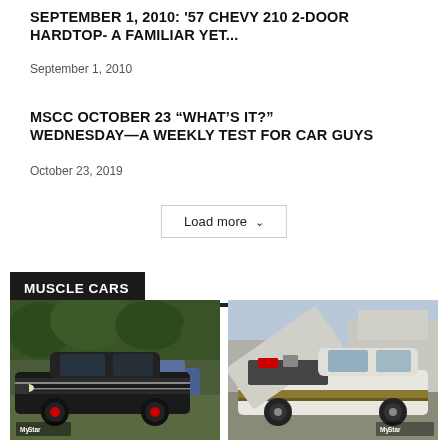SEPTEMBER 1, 2010: '57 CHEVY 210 2-DOOR HARDTOP- A FAMILIAR YET...
September 1, 2010
MSCC OCTOBER 23 “WHAT’S IT?” WEDNESDAY—A WEEKLY TEST FOR CAR GUYS
October 23, 2019
Load more ⌄
MUSCLE CARS
[Figure (photo): Black classic muscle car with racing stripes parked at a car show, green trees in background. My Star logo badge visible.]
[Figure (photo): White and gold classic muscle car with hood open showing engine, parked at outdoor event with RVs in background. My Star logo badge visible.]